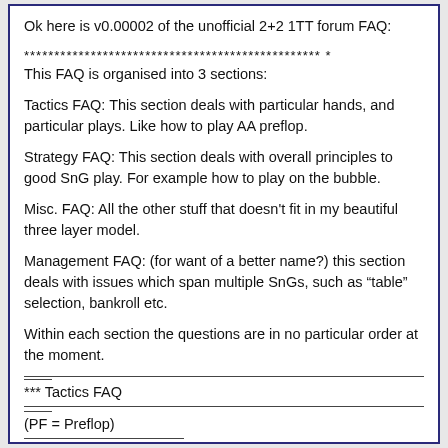Ok here is v0.00002 of the unofficial 2+2 1TT forum FAQ:
************************************************* *
This FAQ is organised into 3 sections:
Tactics FAQ: This section deals with particular hands, and particular plays. Like how to play AA preflop.
Strategy FAQ: This section deals with overall principles to good SnG play. For example how to play on the bubble.
Misc. FAQ: All the other stuff that doesn’t fit in my beautiful three layer model.
Management FAQ: (for want of a better name?) this section deals with issues which span multiple SnGs, such as “table” selection, bankroll etc.
Within each section the questions are in no particular order at the moment.
*** Tactics FAQ
(PF = Preflop)